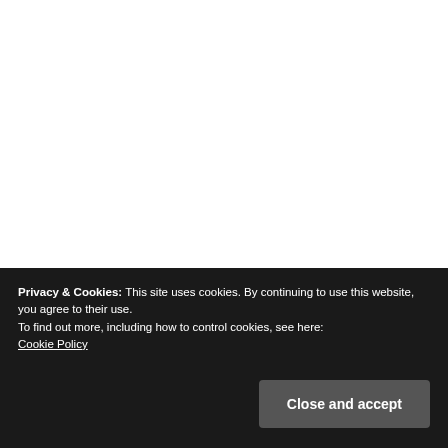[Figure (photo): White empty area representing a photo placeholder above the caption]
The above image shows shopping carts full of “food damaged by Storm Sandy” at the Fairway
Privacy & Cookies: This site uses cookies. By continuing to use this website, you agree to their use.
To find out more, including how to control cookies, see here:
Cookie Policy
Close and accept